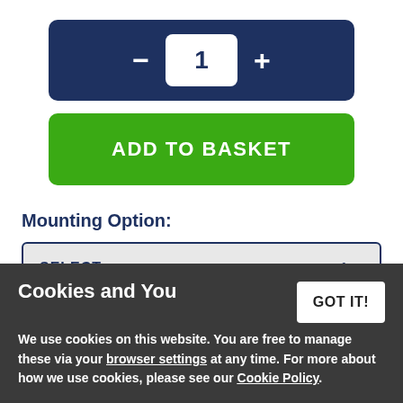[Figure (screenshot): Quantity selector bar with minus button, number input showing 1, and plus button on dark navy background]
[Figure (screenshot): Green Add to Basket button]
Mounting Option:
[Figure (screenshot): Select dropdown box with label SELECT: and chevron arrow]
Cookies and You
We use cookies on this website. You are free to manage these via your browser settings at any time. For more about how we use cookies, please see our Cookie Policy.